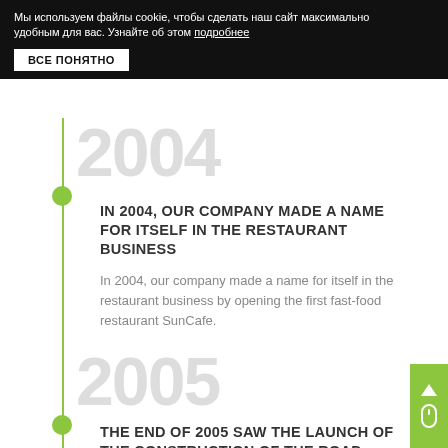Мы используем файлы cookie, чтобы сделать наш сайт максимально удобным для вас. Узнайте об этом подробнее
ВСЕ ПОНЯТНО
2004
IN 2004, OUR COMPANY MADE A NAME FOR ITSELF IN THE RESTAURANT BUSINESS
In 2004, our company made a name for itself in the restaurant business by opening the first fast-food restaurant SunCafe.
2005
THE END OF 2005 SAW THE LAUNCH OF THE CONSTRUCTION OF THE ROAD SERVICE COMPLEX ON MINSK - VITEBSK